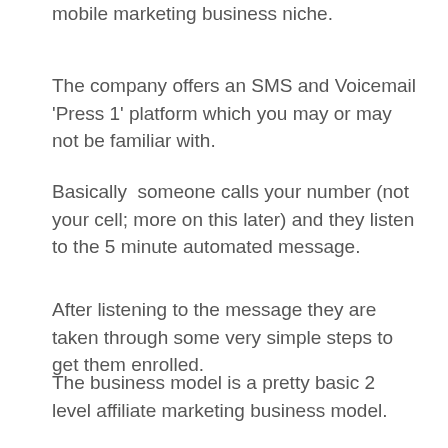The niche I would consider them would be the SMS and mobile marketing business niche.
The company offers an SMS and Voicemail 'Press 1' platform which you may or may not be familiar with.
Basically  someone calls your number (not your cell; more on this later) and they listen to the 5 minute automated message.
After listening to the message they are taken through some very simple steps to get them enrolled.
The business model is a pretty basic 2 level affiliate marketing business model.
This is just a quick rundown of how it works.